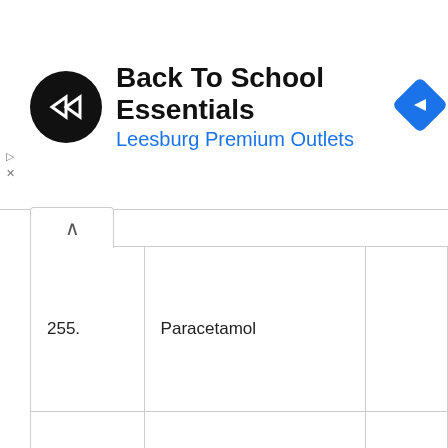[Figure (screenshot): Advertisement banner for 'Back To School Essentials' at Leesburg Premium Outlets with a black circular logo with a double arrow, and a blue diamond navigation icon on the right.]
| Number | Name | Extra |
| --- | --- | --- |
| 255. | Paracetamol |  |
| 256. | Penicillamine |  |
|  |  |  |